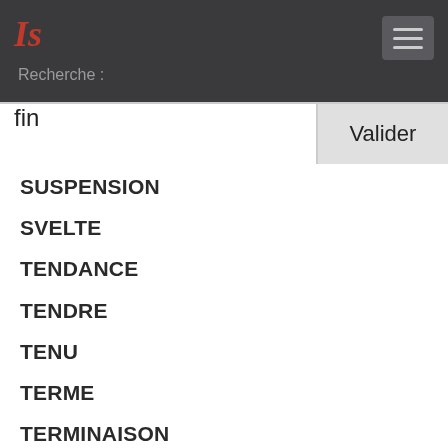IS
Recherche :
fin
Valider
SUSPENSION
SVELTE
TENDANCE
TENDRE
TENU
TERME
TERMINAISON
TERMINUS
TOUT A FAIT